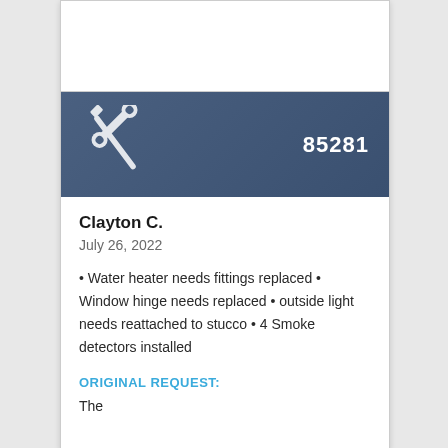[Figure (illustration): Crossed screwdriver and wrench tools icon in white on dark blue-grey banner background, with ticket number 85281 on the right.]
Clayton C.
July 26, 2022
Water heater needs fittings replaced • Window hinge needs replaced • outside light needs reattached to stucco • 4 Smoke detectors installed
ORIGINAL REQUEST:
The (truncated/cut off)